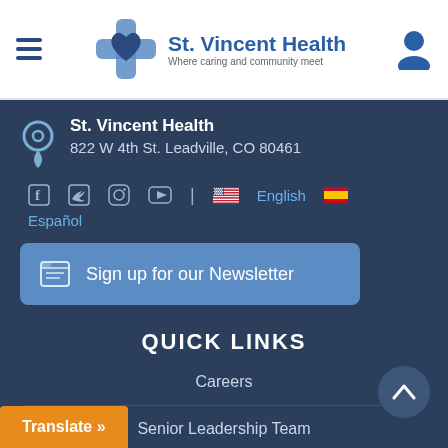[Figure (logo): St. Vincent Health logo with cross/heart icon and text 'St. Vincent Health - Where caring and community meet']
St. Vincent Health
822 W 4th St. Leadville, CO 80461
[Figure (infographic): Social media icons: Facebook, Twitter, Instagram, YouTube; language selector with US flag (English) and Spanish flag (Español)]
Sign up for our Newsletter
QUICK LINKS
Careers
Senior Leadership Team
Translate »